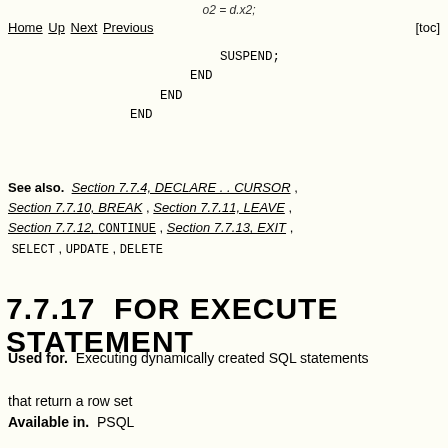o2 = d.x2; Home Up Next Previous [toc]
SUSPEND;
    END
  END
END
See also. Section 7.7.4, DECLARE . . CURSOR , Section 7.7.10, BREAK , Section 7.7.11, LEAVE , Section 7.7.12, CONTINUE , Section 7.7.13, EXIT , SELECT , UPDATE , DELETE
7.7.17  FOR EXECUTE STATEMENT
Used for. Executing dynamically created SQL statements that return a row set
Available in. PSQL